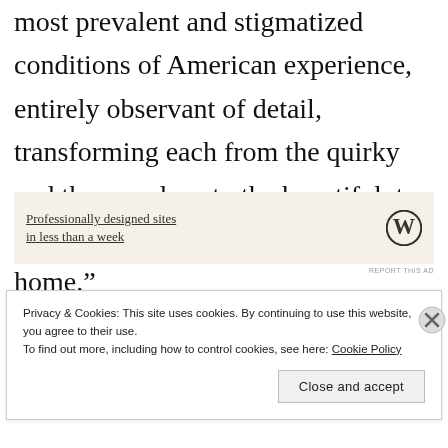sensitivity in this praise song to one of the most prevalent and stigmatized conditions of American experience, entirely observant of detail, transforming each from the quirky and the mundane to the beautiful, to pure joy, “praising all the way home.”
[Figure (other): WordPress advertisement banner: 'Professionally designed sites in less than a week' with WordPress logo]
REPORT THIS AD
Privacy & Cookies: This site uses cookies. By continuing to use this website, you agree to their use.
To find out more, including how to control cookies, see here: Cookie Policy